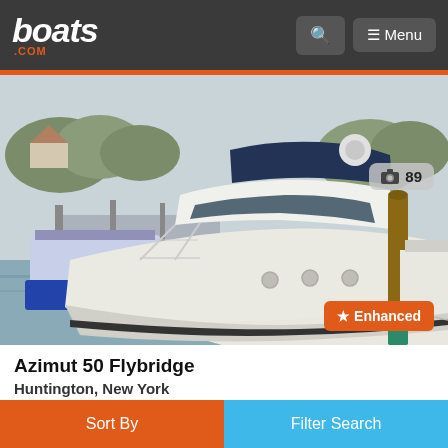boats.com — Menu
[Figure (photo): White Azimut 50 Flybridge motor yacht docked at a marina with trees and other boats in background. Photo count badge showing 89 photos in upper right corner. Enhanced badge in lower right corner.]
Azimut 50 Flybridge
Huntington, New York
2008
$489,000
Sort By   Filter Search